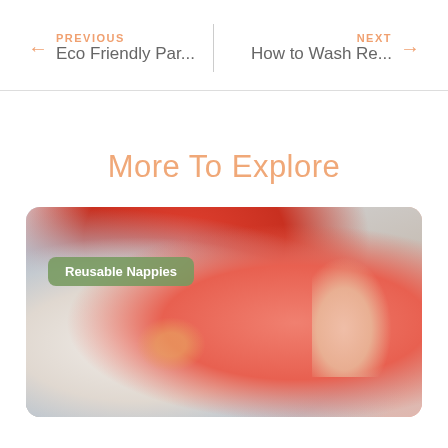PREVIOUS Eco Friendly Par... | NEXT How to Wash Re...
More To Explore
[Figure (photo): Person holding a pink/red baby onesie over a basket with baby clothes and a starfish toy, with blue clothing visible on the left. Tag overlay reads 'Reusable Nappies'.]
Reusable Nappies